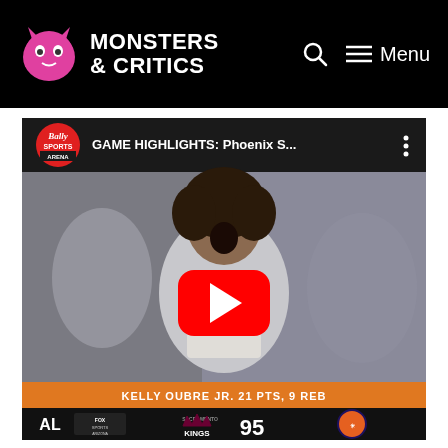MONSTERS & CRITICS
[Figure (screenshot): YouTube embedded video player showing GAME HIGHLIGHTS: Phoenix S... by Bally Sports, with a basketball player (Kelly Oubre Jr.) celebrating with mouth open, wearing a white Suns jersey. A red YouTube play button is overlaid in the center. The bottom shows a score bar: KELLY OUBRE JR. 21 PTS, 9 REB, Sacramento Kings 95, Phoenix Suns logo, FOX Sports Arizona logo.]